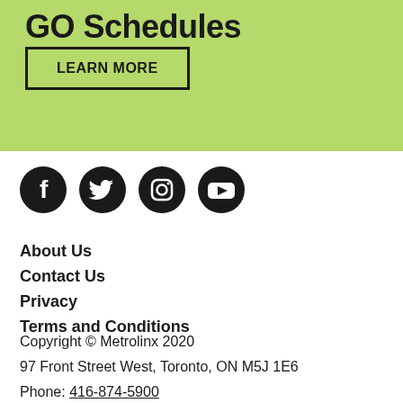GO Schedules
LEARN MORE
[Figure (illustration): Social media icons row: Facebook, Twitter, Instagram, YouTube]
About Us
Contact Us
Privacy
Terms and Conditions
Copyright © Metrolinx 2020
97 Front Street West, Toronto, ON M5J 1E6
Phone: 416-874-5900